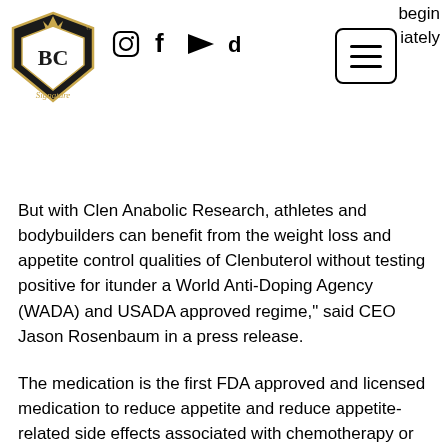[Figure (logo): BC Signature logo — shield with crown, gold and black]
[Figure (illustration): Social media icons: Instagram, Facebook, YouTube, TikTok]
[Figure (illustration): Hamburger menu button (three horizontal lines in a rounded square border)]
begin
iately
But with Clen Anabolic Research, athletes and bodybuilders can benefit from the weight loss and appetite control qualities of Clenbuterol without testing positive for itunder a World Anti-Doping Agency (WADA) and USADA approved regime," said CEO Jason Rosenbaum in a press release.
The medication is the first FDA approved and licensed medication to reduce appetite and reduce appetite-related side effects associated with chemotherapy or radiation while enhancing weight loss.
"Clenbuterol delivers both these benefits